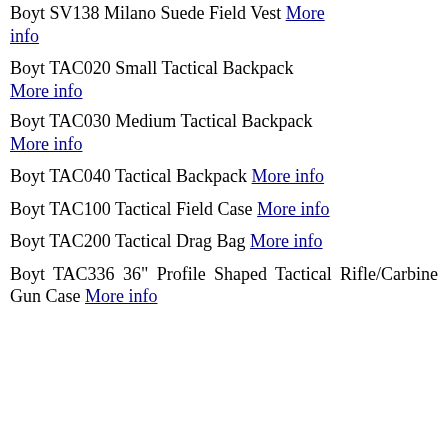Boyt SV138 Milano Suede Field Vest More info
Boyt TAC020 Small Tactical Backpack More info
Boyt TAC030 Medium Tactical Backpack More info
Boyt TAC040 Tactical Backpack More info
Boyt TAC100 Tactical Field Case More info
Boyt TAC200 Tactical Drag Bag More info
Boyt TAC336 36" Profile Shaped Tactical Rifle/Carbine Gun Case More info